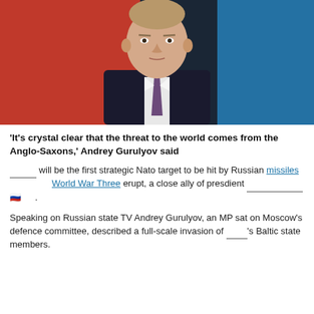[Figure (photo): Close-up photo of a man in a dark suit with a patterned tie, seated, with red and blue background elements.]
'It's crystal clear that the threat to the world comes from the Anglo-Saxons,' Andrey Gurulyov said
____ will be the first strategic Nato target to be hit by Russian missiles [link] World War Three [link] erupt, a close ally of presdient ____________ 🇷🇺 .
Speaking on Russian state TV Andrey Gurulyov, an MP sat on Moscow's defence committee, described a full-scale invasion of ___'s Baltic state members.